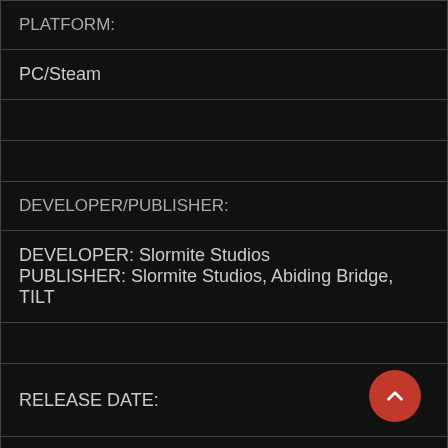| PLATFORM: |
| PC/Steam |
|  |
|  |
| DEVELOPER/PUBLISHER: |
| DEVELOPER: Slormite Studios
PUBLISHER: Slormite Studios, Abiding Bridge, TILT |
|  |
| RELEASE DATE: |
| Tuesday, April 6, 2021 |